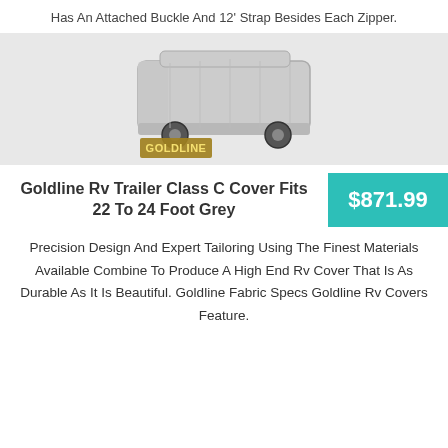Has An Attached Buckle And 12' Strap Besides Each Zipper.
[Figure (photo): Photo of an RV/motorhome covered with a grey Goldline brand cover. The cover fits snugly over the entire vehicle. A gold Goldline logo appears at the bottom left of the image. The image is flanked by grey panels on the left and right.]
Goldline Rv Trailer Class C Cover Fits 22 To 24 Foot Grey
$871.99
Precision Design And Expert Tailoring Using The Finest Materials Available Combine To Produce A High End Rv Cover That Is As Durable As It Is Beautiful. Goldline Fabric Specs Goldline Rv Covers Feature.